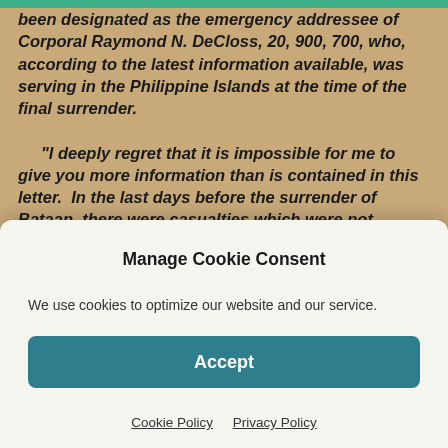been designated as the emergency addressee of Corporal Raymond N. DeCloss, 20, 900, 700, who, according to the latest information available, was serving in the Philippine Islands at the time of the final surrender.
“I deeply regret that it is impossible for me to give you more information than is contained in this letter. In the last days before the surrender of Bataan, there were casualties which were not reported to the War Department. Conceivably the same is true of the surrender of Corregidor and possibly other islands of the Philip...
Manage Cookie Consent
We use cookies to optimize our website and our service.
Accept
Cookie Policy   Privacy Policy